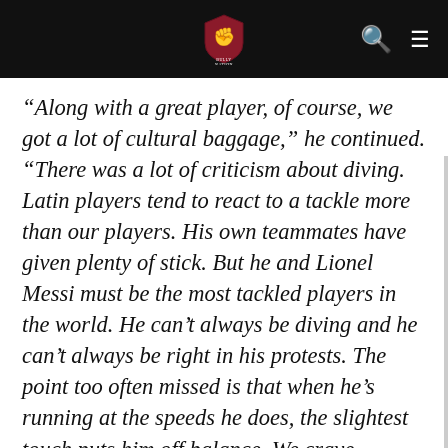BULLY NATION navigation header with logo, search and menu icons
“Along with a great player, of course, we got a lot of cultural baggage,” he continued. “There was a lot of criticism about diving. Latin players tend to react to a tackle more than our players. His own teammates have given plenty of stick. But he and Lionel Messi must be the most tackled players in the world. He can’t always be diving and he can’t always be right in his protests. The point too often missed is that when he’s running at the speeds he does, the slightest touch puts him off balance. We crave players with the courage to go and attack defenders but when they are abused the